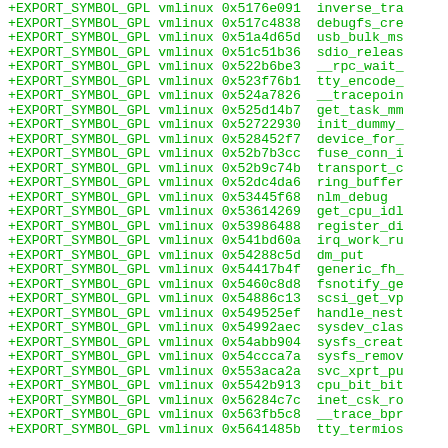+EXPORT_SYMBOL_GPL vmlinux 0x5176e091 inverse_tra
+EXPORT_SYMBOL_GPL vmlinux 0x517c4838 debugfs_cre
+EXPORT_SYMBOL_GPL vmlinux 0x51a4d65d usb_bulk_ms
+EXPORT_SYMBOL_GPL vmlinux 0x51c51b36 sdio_releas
+EXPORT_SYMBOL_GPL vmlinux 0x522b6be3 __rpc_wait_
+EXPORT_SYMBOL_GPL vmlinux 0x523f76b1 tty_encode_
+EXPORT_SYMBOL_GPL vmlinux 0x524a7826 __tracepoin
+EXPORT_SYMBOL_GPL vmlinux 0x525d14b7 get_task_mm
+EXPORT_SYMBOL_GPL vmlinux 0x52722930 init_dummy_
+EXPORT_SYMBOL_GPL vmlinux 0x528452f7 device_for_
+EXPORT_SYMBOL_GPL vmlinux 0x52b7b3cc fuse_conn_i
+EXPORT_SYMBOL_GPL vmlinux 0x52b9c74b transport_c
+EXPORT_SYMBOL_GPL vmlinux 0x52dc4da6 ring_buffer
+EXPORT_SYMBOL_GPL vmlinux 0x53445f68 nlm_debug
+EXPORT_SYMBOL_GPL vmlinux 0x53614269 get_cpu_idl
+EXPORT_SYMBOL_GPL vmlinux 0x53986488 register_di
+EXPORT_SYMBOL_GPL vmlinux 0x541bd60a irq_work_ru
+EXPORT_SYMBOL_GPL vmlinux 0x54288c5d dm_put
+EXPORT_SYMBOL_GPL vmlinux 0x54417b4f generic_fh_
+EXPORT_SYMBOL_GPL vmlinux 0x5460c8d8 fsnotify_ge
+EXPORT_SYMBOL_GPL vmlinux 0x54886c13 scsi_get_vp
+EXPORT_SYMBOL_GPL vmlinux 0x549525ef handle_nest
+EXPORT_SYMBOL_GPL vmlinux 0x54992aec sysdev_clas
+EXPORT_SYMBOL_GPL vmlinux 0x54abb904 sysfs_creat
+EXPORT_SYMBOL_GPL vmlinux 0x54ccca7a sysfs_remov
+EXPORT_SYMBOL_GPL vmlinux 0x553aca2a svc_xprt_pu
+EXPORT_SYMBOL_GPL vmlinux 0x5542b913 cpu_bit_bit
+EXPORT_SYMBOL_GPL vmlinux 0x56284c7c inet_csk_ro
+EXPORT_SYMBOL_GPL vmlinux 0x563fb5c8 __trace_bpr
+EXPORT_SYMBOL_GPL vmlinux 0x5641485b tty_termios